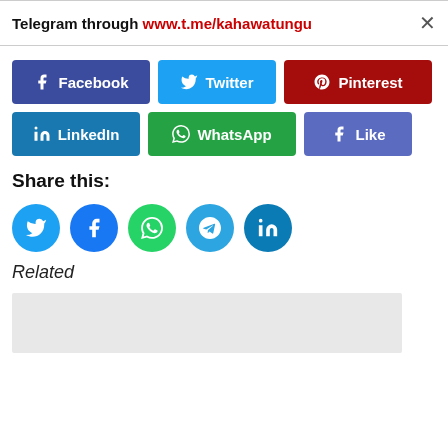Telegram through www.t.me/kahawatungu
[Figure (infographic): Social share buttons: Facebook (dark blue), Twitter (light blue), Pinterest (dark red), LinkedIn (blue), WhatsApp (green), Like (medium blue)]
Share this:
[Figure (infographic): Round social share icon buttons: Twitter (light blue), Facebook (blue), WhatsApp (green), Telegram (blue), LinkedIn (dark blue)]
Related
[Figure (photo): Gray placeholder image box at bottom]